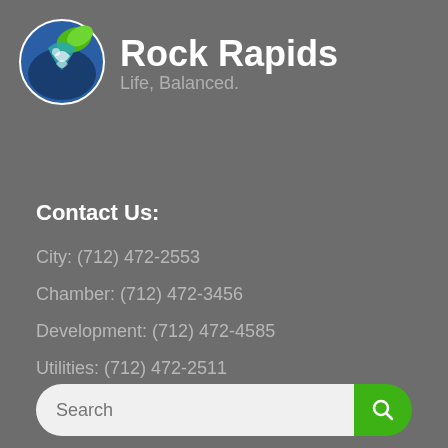[Figure (logo): Rock Rapids city logo: circular blue and green globe/ribbon icon with white highlights]
Rock Rapids
Life, Balanced.
Contact Us:
City: (712) 472-2553
Chamber: (712) 472-3456
Development: (712) 472-4585
Utilities: (712) 472-2511